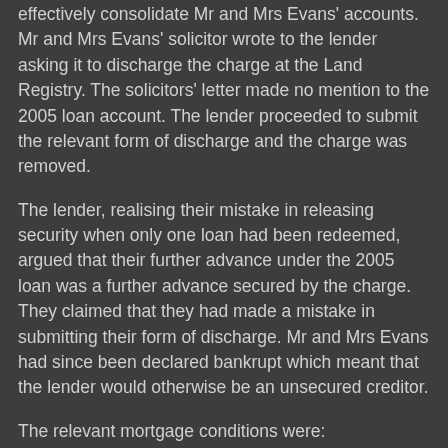effectively consolidate Mr and Mrs Evans' accounts. Mr and Mrs Evans' solicitor wrote to the lender asking it to discharge the charge at the Land Registry. The solicitors' letter made no mention to the 2005 loan account. The lender proceeded to submit the relevant form of discharge and the charge was removed.
The lender, realising their mistake in releasing security when only one loan had been redeemed, argued that their further advance under the 2005 loan was a further advance secured by the charge. They claimed that they had made a mistake in submitting their form of discharge. Mr and Mrs Evans had since been declared bankrupt which meant that the lender would otherwise be an unsecured creditor.
The relevant mortgage conditions were:
(a) The mortgage debt was defined as: 'all of the money you owe us from time to time under any